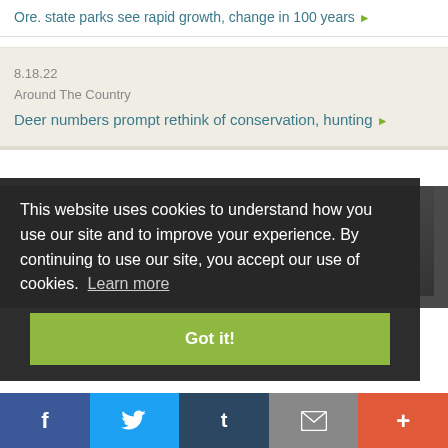Ore. state parks see rapid growth, change in 100 years ▶
8.18.22
Around The Country
Deer numbers prompt rethink of conservation, hunting ▶
Related
This website uses cookies to understand how you use our site and to improve your experience. By continuing to use our site, you accept our use of cookies.  Learn more
Got it!
f  🐦  t  ✉  +